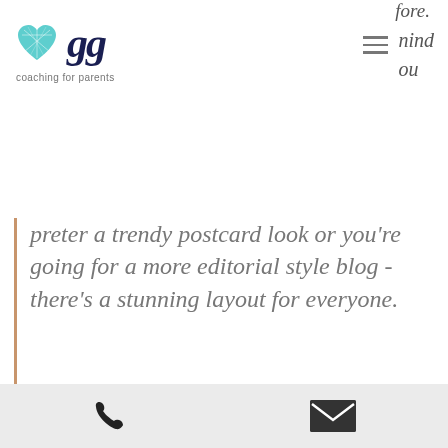fore.
[Figure (logo): GG coaching for parents logo with teal heart and dark blue italic 'gg' text]
nind
ou
preter a trendy postcard look or you're going for a more editorial style blog - there's a stunning layout for everyone.
You'll be posting loads of engaging content, so be sure to keep your blog organized with Categories that also allow visitors to explore more of what interests them.
Create Relevant Content
phone and email icons